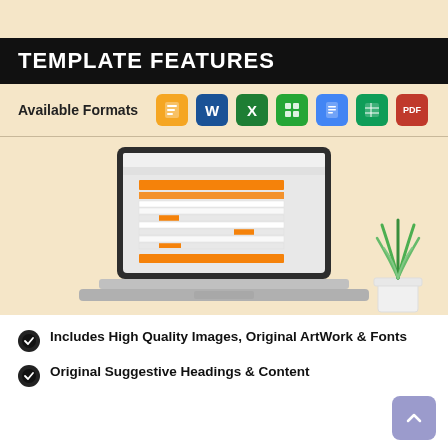TEMPLATE FEATURES
Available Formats [Pages, Word, Excel, Numbers, Google Docs, Google Sheets, PDF]
[Figure (screenshot): Laptop displaying a spreadsheet/calendar template with orange headers and cells on screen. A potted green plant is visible to the right.]
Includes High Quality Images, Original ArtWork & Fonts
Original Suggestive Headings & Content